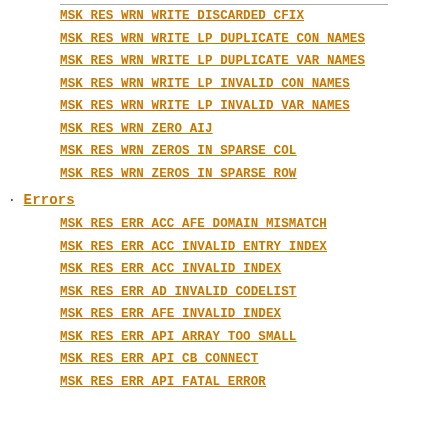MSK RES WRN WRITE DISCARDED CFIX
MSK RES WRN WRITE LP DUPLICATE CON NAMES
MSK RES WRN WRITE LP DUPLICATE VAR NAMES
MSK RES WRN WRITE LP INVALID CON NAMES
MSK RES WRN WRITE LP INVALID VAR NAMES
MSK RES WRN ZERO AIJ
MSK RES WRN ZEROS IN SPARSE COL
MSK RES WRN ZEROS IN SPARSE ROW
Errors
MSK RES ERR ACC AFE DOMAIN MISMATCH
MSK RES ERR ACC INVALID ENTRY INDEX
MSK RES ERR ACC INVALID INDEX
MSK RES ERR AD INVALID CODELIST
MSK RES ERR AFE INVALID INDEX
MSK RES ERR API ARRAY TOO SMALL
MSK RES ERR API CB CONNECT
MSK RES ERR API FATAL ERROR